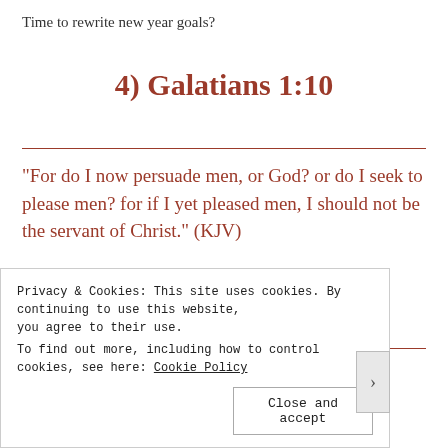Time to rewrite new year goals?
4) Galatians 1:10
“For do I now persuade men, or God? or do I seek to please men? for if I yet pleased men, I should not be the servant of Christ.” (KJV)
[Figure (photo): Partial image strip showing what appears to be a food or lifestyle photo]
Privacy & Cookies: This site uses cookies. By continuing to use this website, you agree to their use.
To find out more, including how to control cookies, see here: Cookie Policy
Close and accept